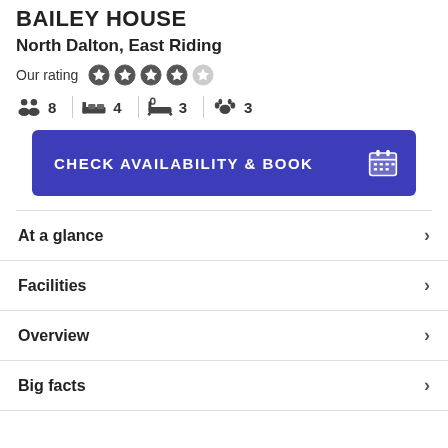BAILEY HOUSE
North Dalton, East Riding
Our rating  ★★★★☆
👥 8  🛏 4  🛁 3  🐾 3
CHECK AVAILABILITY & BOOK
At a glance
Facilities
Overview
Big facts